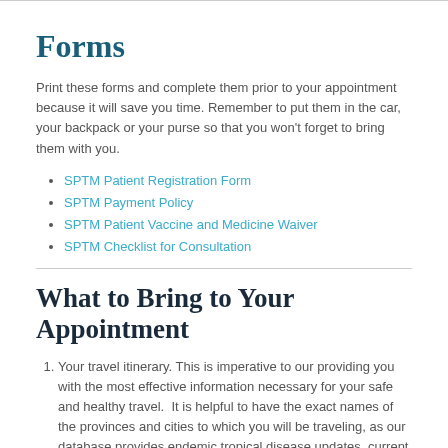Forms
Print these forms and complete them prior to your appointment because it will save you time. Remember to put them in the car, your backpack or your purse so that you won't forget to bring them with you.
SPTM Patient Registration Form
SPTM Payment Policy
SPTM Patient Vaccine and Medicine Waiver
SPTM Checklist for Consultation
What to Bring to Your Appointment
Your travel itinerary. This is imperative to our providing you with the most effective information necessary for your safe and healthy travel.  It is helpful to have the exact names of the provinces and cities to which you will be traveling, as our database provides endemic tropical disease updates, current outbreak information, and political status on a city-by-city basis.